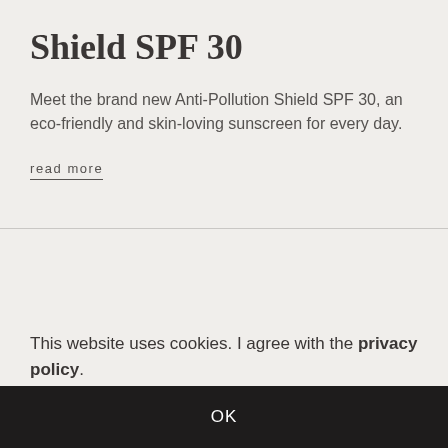Shield SPF 30
Meet the brand new Anti-Pollution Shield SPF 30, an eco-friendly and skin-loving sunscreen for every day.
read more
This website uses cookies. I agree with the privacy policy.
OK